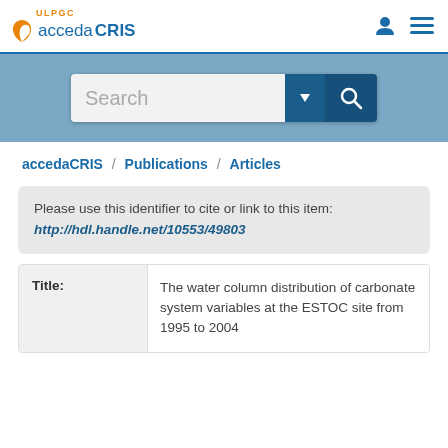ULPGC accedaCRIS
[Figure (screenshot): Search bar with dropdown and magnifying glass button on blue banner background]
accedaCRIS / Publications / Articles
Please use this identifier to cite or link to this item: http://hdl.handle.net/10553/49803
| Label | Value |
| --- | --- |
| Title: | The water column distribution of carbonate system variables at the ESTOC site from 1995 to 2004 |